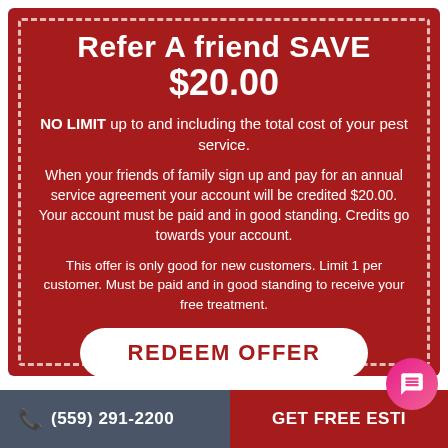Refer A friend SAVE $20.00
NO LIMIT up to and including the total cost of your pest service.
When your friends of family sign up and pay for an annual service agreement your account will be credited $20.00. Your account must be paid and in good standing. Credits go towards your account.
This offer is only good for new customers. Limit 1 per customer. Must be paid and in good standing to receive your free treatment.
REDEEM OFFER
(559) 291-2200   GET FREE ESTI...